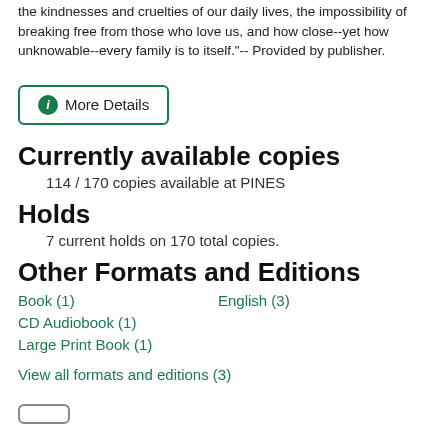the kindnesses and cruelties of our daily lives, the impossibility of breaking free from those who love us, and how close--yet how unknowable--every family is to itself."-- Provided by publisher.
ⓘ More Details
Currently available copies
114 / 170 copies available at PINES
Holds
7 current holds on 170 total copies.
Other Formats and Editions
Book (1)
English (3)
CD Audiobook (1)
Large Print Book (1)
View all formats and editions (3)